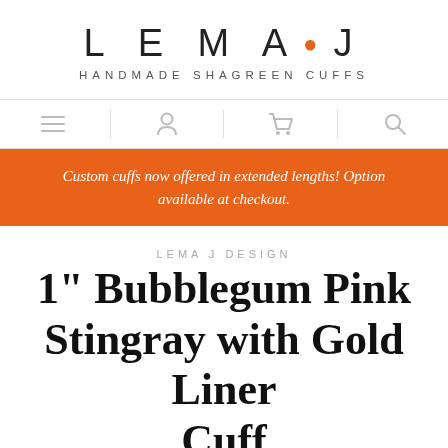[Figure (logo): LEMA·J logo with orange dot and subtitle HANDMADE SHAGREEN CUFFS]
[Figure (infographic): Navigation bar with four icons: hamburger menu, user profile, shopping cart, search]
Custom cuffs now offered in extended lengths! Option available at checkout.
LEMA J DESIGN
1" Bubblegum Pink Stingray with Gold Liner Cuff